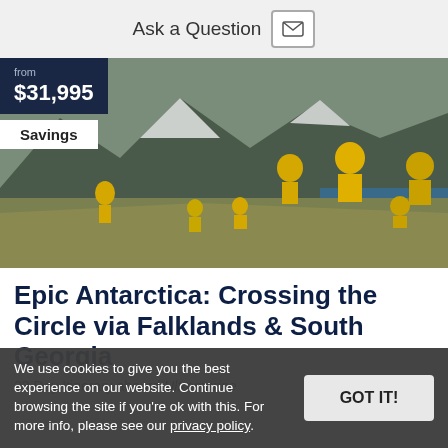Ask a Question
[Figure (photo): Group of tourists in yellow jackets standing on a hillside with mountains and blue water in the background. Price overlay shows 'from $31,995' and a 'Savings' button.]
Epic Antarctica: Crossing the Circle via Falklands & South Georgia
23 Day Itinerary aboard Ultramarine
We use cookies to give you the best experience on our website. Continue browsing the site if you're ok with this. For more info, please see our privacy policy.
Follow in Shackleton's footsteps